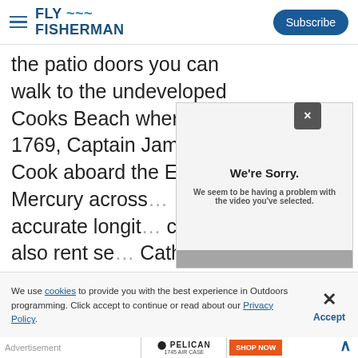FLY FISHERMAN | Subscribe
the patio doors you can walk to the undeveloped Cooks Beach where in 1769, Captain James Cook aboard the End... Mercury across... accurate longitu... can also rent se... Cathedral Cove... preserve.
[Figure (screenshot): Video error dialog overlay with message 'We're Sorry. We seem to be having a problem with the video you've selected.' on a light gray background with a close (×) button]
We use cookies to provide you with the best experience in Outdoors programming. Click accept to continue or read about our Privacy Policy.
[Figure (screenshot): Pelican 1745 Air Case advertisement banner with SHOP NOW button]